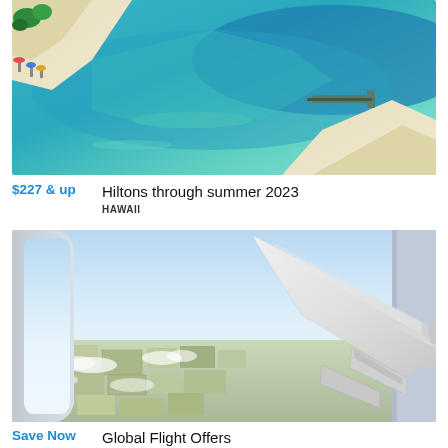[Figure (photo): Aerial view of a turquoise beach with sandy shore and a pier/bridge]
$227 & up  Hiltons through summer 2023
HAWAII
[Figure (photo): View from airplane window showing aircraft wing over farmland landscape with clouds]
Save Now  Global Flight Offers
WORLDWIDE